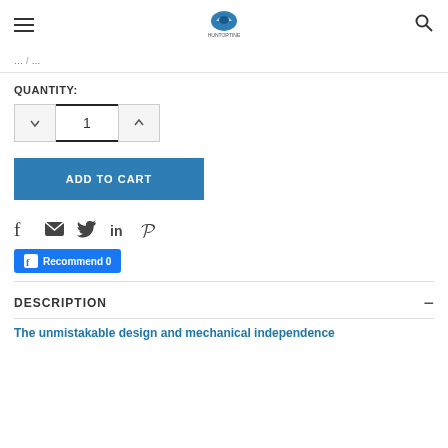[Logo] [Hamburger menu] [Search icon]
QUANTITY:
[Figure (other): Quantity stepper with decrement button, value field showing 1, and increment button]
ADD TO CART
[Figure (other): Social sharing icons: Facebook, Email, Twitter, LinkedIn, Pinterest; Facebook Recommend 0 button]
DESCRIPTION
The unmistakable design and mechanical independence